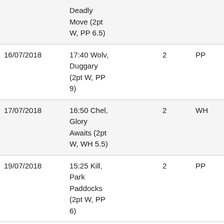| Date | Race | Num | Bookie | Odds |
| --- | --- | --- | --- | --- |
|  | Deadly Move (2pt W, PP 6.5) |  |  |  |
| 16/07/2018 | 17:40 Wolv, Duggary (2pt W, PP 9) | 2 | PP | 9 |
| 17/07/2018 | 16:50 Chel, Glory Awaits (2pt W, WH 5.5) | 2 | WH | 5.5 |
| 19/07/2018 | 15:25 Kill, Park Paddocks (2pt W, PP 6) | 2 | PP | 6 |